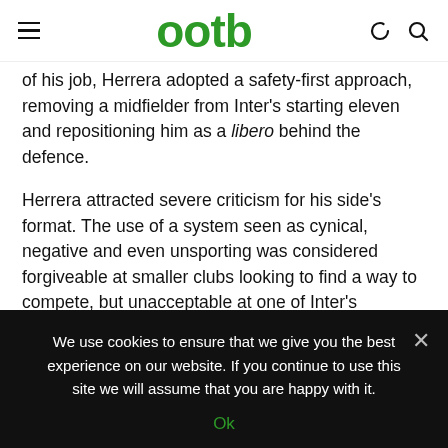ootb
of his job, Herrera adopted a safety-first approach, removing a midfielder from Inter's starting eleven and repositioning him as a libero behind the defence.
Herrera attracted severe criticism for his side's format. The use of a system seen as cynical, negative and even unsporting was considered forgiveable at smaller clubs looking to find a way to compete, but unacceptable at one of Inter's standing. Cross-city rivals Milan were actually the
We use cookies to ensure that we give you the best experience on our website. If you continue to use this site we will assume that you are happy with it.
Ok